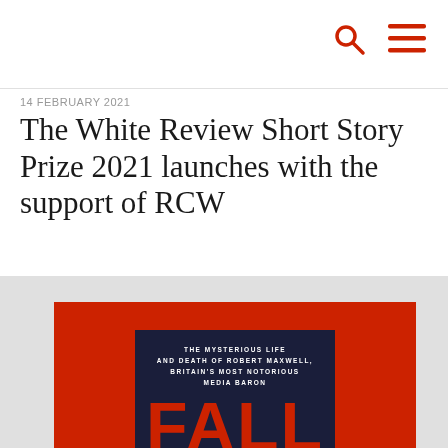14 FEBRUARY 2021
The White Review Short Story Prize 2021 launches with the support of RCW
[Figure (illustration): Book cover of 'FALL' by John Preston — The Mysterious Life and Death of Robert Maxwell, Britain's Most Notorious Media Baron. Red background with dark navy bold title 'FALL' and author name 'JOHN PRESTON'. Photo of man in suit leaning on white railing at bottom.]